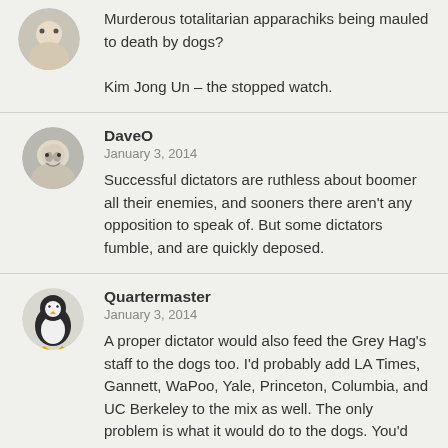Murderous totalitarian apparachiks being mauled to death by dogs?

Kim Jong Un – the stopped watch.
DaveO
January 3, 2014

Successful dictators are ruthless about boomer all their enemies, and sooners there aren't any opposition to speak of. But some dictators fumble, and are quickly deposed.
Quartermaster
January 3, 2014

A proper dictator would also feed the Grey Hag's staff to the dogs too. I'd probably add LA Times, Gannett, WaPoo, Yale, Princeton, Columbia, and UC Berkeley to the mix as well. The only problem is what it would do to the dogs. You'd have euthanize the dogs afterward for the terminal indigestion.